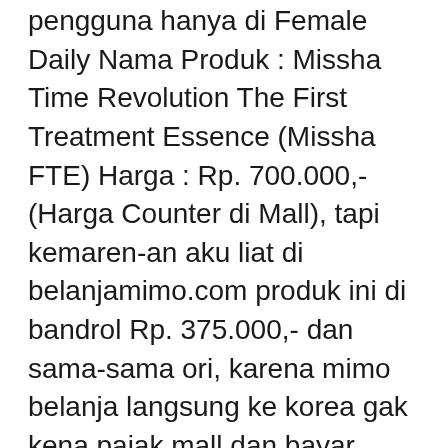pengguna hanya di Female Daily Nama Produk : Missha Time Revolution The First Treatment Essence (Missha FTE) Harga : Rp. 700.000,- (Harga Counter di Mall), tapi kemaren-an aku liat di belanjamimo.com produk ini di bandrol Rp. 375.000,- dan sama-sama ori, karena mimo belanja langsung ke korea gak kena pajak mall dan bayar SPG jd вЂ¦
Produk kedua yang akan saya ulas adalah Secretkey First Treatment Essence, wow langsung googling soal si missha ini begitu baca review ini, nice review! btw, bisa dpt missha ini dimana ya? tertarik sama cooling effectnya kayanya seger pasti begitu pake missha